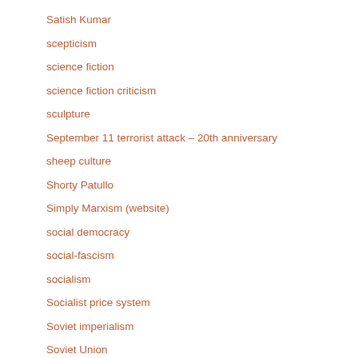Satish Kumar
scepticism
science fiction
science fiction criticism
sculpture
September 11 terrorist attack – 20th anniversary
sheep culture
Shorty Patullo
Simply Marxism (website)
social democracy
social-fascism
socialism
Socialist price system
Soviet imperialism
Soviet Union
Soylent Green (film)